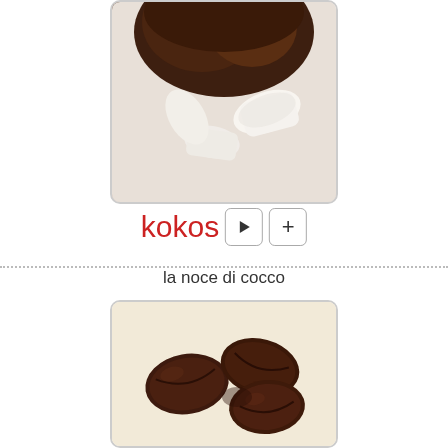[Figure (photo): Partial view of a coconut with white flesh pieces visible, top portion cut off]
kokos
[Figure (illustration): Play button (triangle) in a rounded rectangle]
[Figure (illustration): Plus (+) button in a rounded rectangle]
la noce di cocco
[Figure (photo): Several dark brown roasted coffee beans on a light cream background]